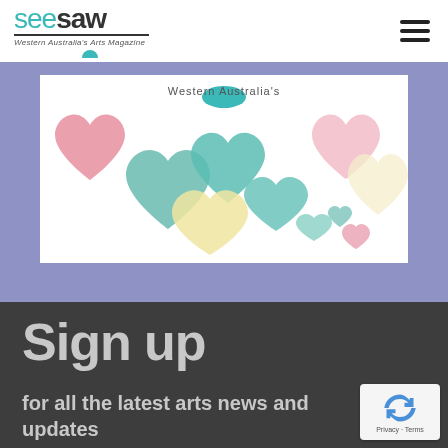seesaw — Western Australia's Arts Magazine
[Figure (illustration): Colorful pastel heart shapes scattered on a white background with 'Western Australian' text overlay, on a periwinkle/purple background section]
Sign up
for all the latest arts news and updates